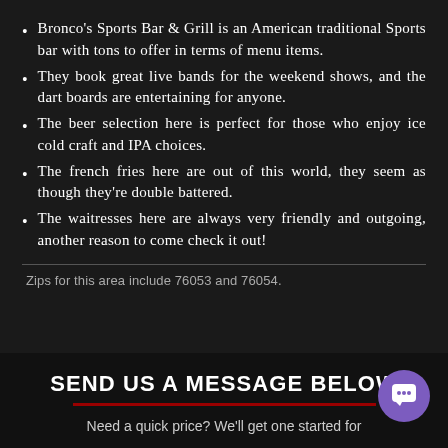Bronco's Sports Bar & Grill is an American traditional Sports bar with tons to offer in terms of menu items.
They book great live bands for the weekend shows, and the dart boards are entertaining for anyone.
The beer selection here is perfect for those who enjoy ice cold craft and IPA choices.
The french fries here are out of this world, they seem as though they're double battered.
The waitresses here are always very friendly and outgoing, another reason to come check it out!
Zips for this area include 76053 and 76054.
SEND US A MESSAGE BELOW
Need a quick price? We'll get one started for